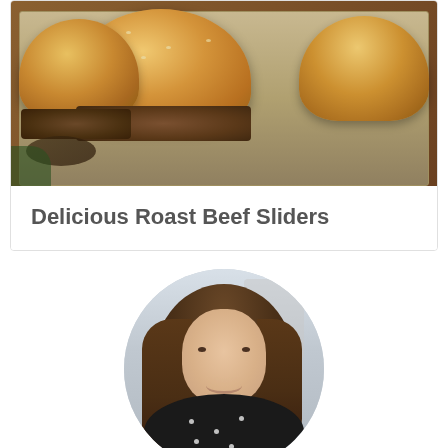[Figure (photo): Photo of delicious roast beef sliders in a metal baking pan, showing golden-brown buns filled with roast beef, viewed from above at an angle.]
Delicious Roast Beef Sliders
[Figure (photo): Circular profile photo of a smiling woman with long brown hair, wearing a black polka-dot shirt, with a blurred outdoor background.]
WELCOME!